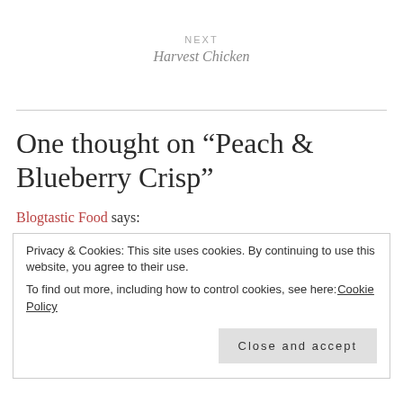NEXT
Harvest Chicken
One thought on “Peach & Blueberry Crisp”
Blogtastic Food says:
Privacy & Cookies: This site uses cookies. By continuing to use this website, you agree to their use.
To find out more, including how to control cookies, see here: Cookie Policy
Close and accept